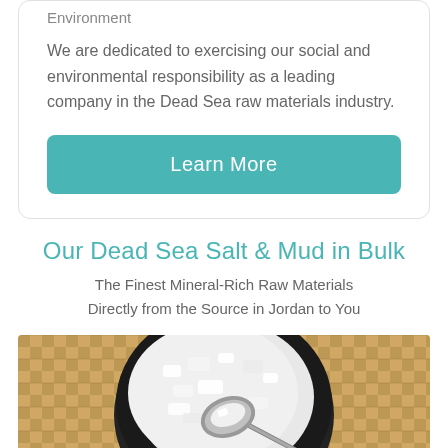Environment
We are dedicated to exercising our social and environmental responsibility as a leading company in the Dead Sea raw materials industry.
Learn More
Our Dead Sea Salt & Mud in Bulk
The Finest Mineral-Rich Raw Materials Directly from the Source in Jordan to You
[Figure (photo): Overhead view of a black bowl filled with coarse white Dead Sea salt with a metal spoon scooping salt, placed on a woven basket background, with a hand holding the spoon.]